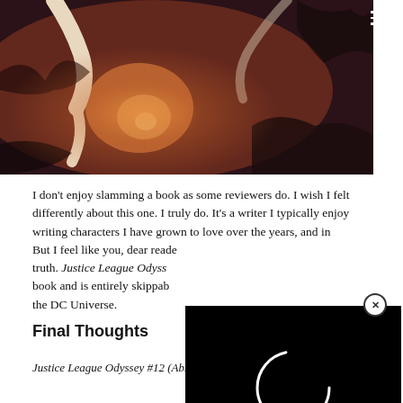[Figure (illustration): Comic book art showing a figure with pale outstretched arms against a dark reddish-brown and orange background with trees and light source]
I don't enjoy slamming a book as some reviewers do. I wish I felt differently about this one. I truly do. It's a writer I typically enjoy writing characters I have grown to love over the years, and in [partially obscured]. But I feel like you, dear reade[r deserves the] truth. Justice League Odys[sey is a poorly crafted] book and is entirely skippab[le despite its place in] the DC Universe.
[Figure (screenshot): Black video loading overlay with a circular loading spinner, partially covering the text, with an X close button and a grey CLOSE button]
Final Thoughts
Justice League Odyssey #12 (Abnett, Conrod) sees